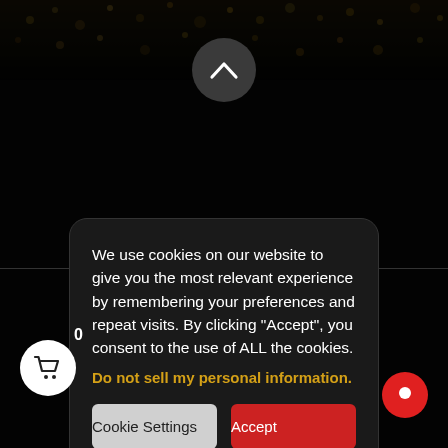[Figure (screenshot): Dark website background with confetti/bokeh effect at the top, an up-arrow chevron button, a cookie consent dialog in the center-bottom area, a cart icon with count 0, and a chat button.]
We use cookies on our website to give you the most relevant experience by remembering your preferences and repeat visits. By clicking “Accept”, you consent to the use of ALL the cookies.
Do not sell my personal information.
Cookie Settings
Accept